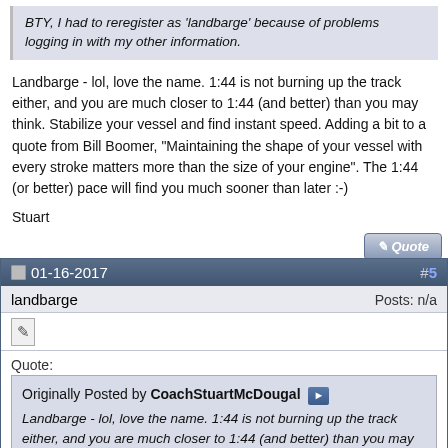BTY, I had to reregister as 'landbarge' because of problems logging in with my other information.
Landbarge - lol, love the name. 1:44 is not burning up the track either, and you are much closer to 1:44 (and better) than you may think. Stabilize your vessel and find instant speed. Adding a bit to a quote from Bill Boomer, "Maintaining the shape of your vessel with every stroke matters more than the size of your engine". The 1:44 (or better) pace will find you much sooner than later :-)
Stuart
01-16-2017  #5
landbarge   Posts: n/a
Quote:
Originally Posted by CoachStuartMcDougal
Landbarge - lol, love the name. 1:44 is not burning up the track either, and you are much closer to 1:44 (and better) than you may think. Stabilize your vessel and find instant speed. Adding a bit to a quote from Bill Boomer, "Maintaining the shape of your vessel with every stroke matters more than the